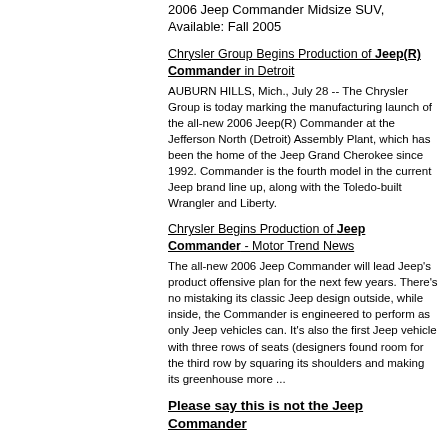2006 Jeep Commander Midsize SUV, Available: Fall 2005
Chrysler Group Begins Production of Jeep(R) Commander in Detroit
AUBURN HILLS, Mich., July 28 -- The Chrysler Group is today marking the manufacturing launch of the all-new 2006 Jeep(R) Commander at the Jefferson North (Detroit) Assembly Plant, which has been the home of the Jeep Grand Cherokee since 1992. Commander is the fourth model in the current Jeep brand line up, along with the Toledo-built Wrangler and Liberty.
Chrysler Begins Production of Jeep Commander - Motor Trend News
The all-new 2006 Jeep Commander will lead Jeep's product offensive plan for the next few years. There's no mistaking its classic Jeep design outside, while inside, the Commander is engineered to perform as only Jeep vehicles can. It's also the first Jeep vehicle with three rows of seats (designers found room for the third row by squaring its shoulders and making its greenhouse more ...
Please say this is not the Jeep Commander